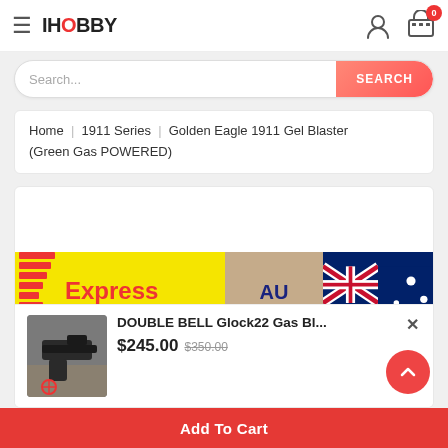IH0BBY — navigation header with hamburger menu, logo, user icon, cart icon with badge 0
Search...
SEARCH
Home  |  1911 Series  |  Golden Eagle 1911 Gel Blaster (Green Gas POWERED)
[Figure (screenshot): Express Post banner with yellow background and red stripes on the left, AU STORE text in the middle, and Australian flag on the right]
DOUBLE BELL Glock22 Gas Bl...
$245.00 $350.00
Add To Cart